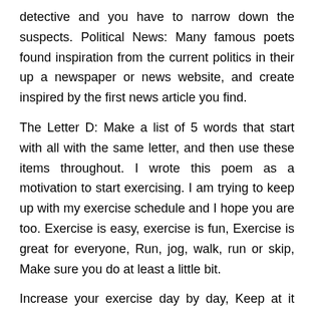detective and you have to narrow down the suspects. Political News: Many famous poets found inspiration from the current politics in their up a newspaper or news website, and create inspired by the first news article you find.
The Letter D: Make a list of 5 words that start with all with the same letter, and then use these items throughout. I wrote this poem as a motivation to start exercising. I am trying to keep up with my exercise schedule and I hope you are too. Exercise is easy, exercise is fun, Exercise is great for everyone, Run, jog, walk, run or skip, Make sure you do at least a little bit.
Increase your exercise day by day, Keep at it and you will find a way. Even for serious poets who would never try to publish an acrostic poem, this is a great exercise to get creative juices flowing. lose your eyes, flip through a book, and put your finger on a page. Whatever word you're pointing at, use it as a poem title and write that poem.
Write a poem late at night, by hand, by candlelight. Read the whole poem here, and check out more poems by Stevenson in his book A